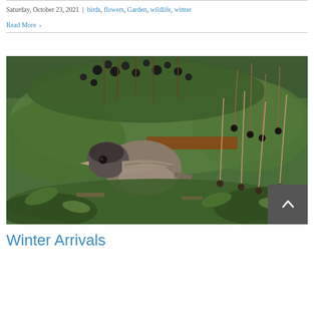Saturday, October 23, 2021  |  birds, flowers, Garden, wildlife, winter
Read More >
[Figure (photo): A small brown bird (likely a junco or sparrow) foraging on the ground among green plants and dark berries hanging from stems]
Winter Arrivals